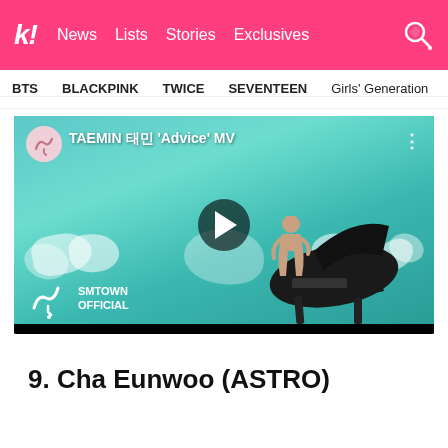k! News  Lists  Stories  Exclusives
BTS  BLACKPINK  TWICE  SEVENTEEN  Girls' Generation
[Figure (screenshot): YouTube video embed showing TAEMIN 태민 'Advice' MV from SMTOWN OFFICIAL channel, with a person playing a grand piano in a teal-lit room surrounded by white feathery structures. A play button is visible in the center.]
9. Cha Eunwoo (ASTRO)